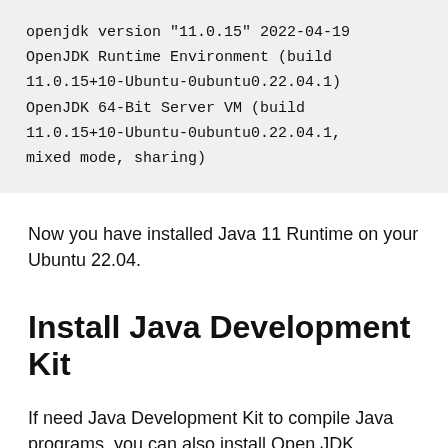openjdk version "11.0.15" 2022-04-19
OpenJDK Runtime Environment (build
11.0.15+10-Ubuntu-0ubuntu0.22.04.1)
OpenJDK 64-Bit Server VM (build
11.0.15+10-Ubuntu-0ubuntu0.22.04.1,
mixed mode, sharing)
Now you have installed Java 11 Runtime on your Ubuntu 22.04.
Install Java Development Kit
If need Java Development Kit to compile Java programs, you can also install Open JDK